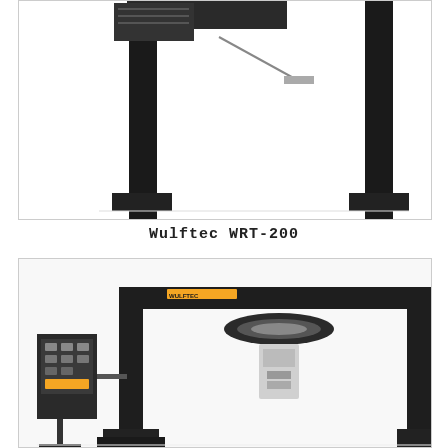[Figure (photo): Top photo showing a Wulftec WRT-200 wrapping machine — two tall black vertical columns with a horizontal bar, partial view cropped at top, showing industrial wrapping equipment structure against white background.]
Wulftec WRT-200
[Figure (photo): Bottom photo showing the Wulftec WRT-200 ring wrapping machine — a gantry-style frame with two black vertical columns, a horizontal top beam with 'WULFTEC' branding, a rotating ring mechanism in the center, a control panel on the left side, and a film carriage hanging from the ring. The image is cropped and shows the machine from a front-left perspective.]